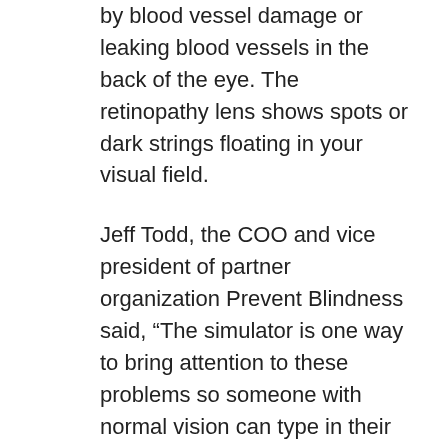by blood vessel damage or leaking blood vessels in the back of the eye. The retinopathy lens shows spots or dark strings floating in your visual field.
Jeff Todd, the COO and vice president of partner organization Prevent Blindness said, "The simulator is one way to bring attention to these problems so someone with normal vision can type in their home address and see how much more challenging it is to see what you see on a daily basis."
Keeping your vision healthy and strong is just a phone call away. The best way to prevent these three eye conditions is by scheduling regular comprehensive eye exams with your doctor. A comprehensive eye exam includes